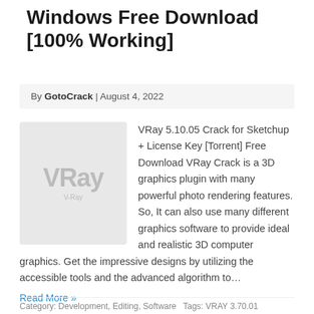Windows Free Download [100% Working]
By GotoCrack | August 4, 2022
[Figure (illustration): VRay software logo/thumbnail placeholder image with light grey background]
VRay 5.10.05 Crack for Sketchup + License Key [Torrent] Free Download VRay Crack is a 3D graphics plugin with many powerful photo rendering features. So, It can also use many different graphics software to provide ideal and realistic 3D computer graphics. Get the impressive designs by utilizing the accessible tools and the advanced algorithm to…
Read More »
Category: Development, Editing, Software  Tags: VRAY 3.70.01